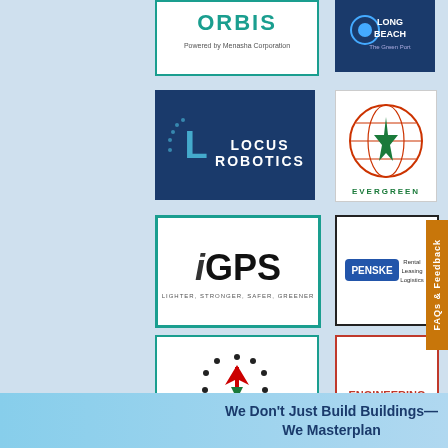[Figure (logo): Orbis logo - powered by Menasha Corporation, teal border white background]
[Figure (logo): Port of Long Beach - The Green Port logo, dark blue background]
[Figure (logo): Locus Robotics logo, dark blue background with white text]
[Figure (logo): Evergreen shipping logo - globe with star compass, red/green on white]
[Figure (logo): iGPS logo - Lighter, Stronger, Safer, Greener, teal border]
[Figure (logo): Penske - Rental Leasing Logistics logo, black border]
[Figure (logo): Kenco logo with dots circle, teal border]
[Figure (logo): Engineering Innovation logo, red border]
FAQs & Feedback
We Don't Just Build Buildings— We Masterplan